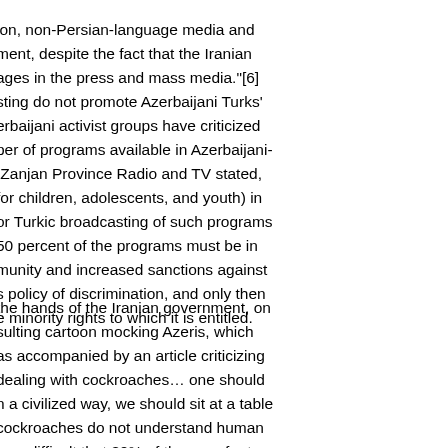ion, non-Persian-language media and ment, despite the fact that the Iranian ages in the press and mass media."[6] sting do not promote Azerbaijani Turks' erbaijani activist groups have criticized per of programs available in Azerbaijani- Zanjan Province Radio and TV stated, for children, adolescents, and youth) in or Turkic broadcasting of such programs 50 percent of the programs must be in munity and increased sanctions against s policy of discrimination, and only then e minority rights to which it is entitled.
the hands of the Iranian government, on sulting cartoon mocking Azeris, which as accompanied by an article criticizing dealing with cockroaches… one should n a civilized way, we should sit at a table cockroaches do not understand human s so difficult that 80% of them prefer to not understand their own language, how oint that dialogue comes to an end, and